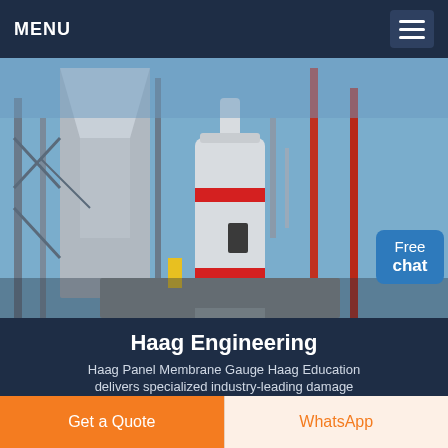MENU
[Figure (photo): Industrial engineering site photograph showing large white cylindrical grinding/milling machine with red horizontal stripe bands, scaffolding structures, metal framework, and a blue sky background. A chat assistant figure appears in the lower right corner.]
Free chat
Haag Engineering
Haag Panel Membrane Gauge Haag Education delivers specialized industry-leading damage
Get a Quote
WhatsApp